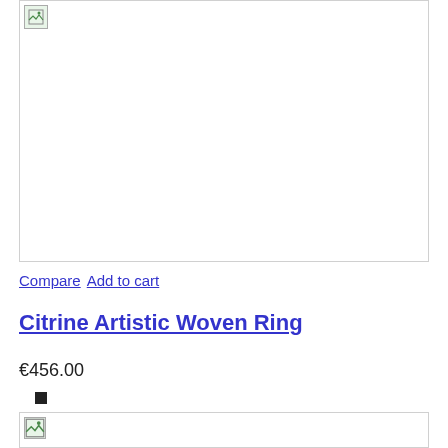[Figure (photo): Product image placeholder (broken image icon) for Citrine Artistic Woven Ring, top image]
Compare Add to cart
Citrine Artistic Woven Ring
€456.00
[Figure (photo): Product image placeholder (broken image icon) for second product, bottom image]